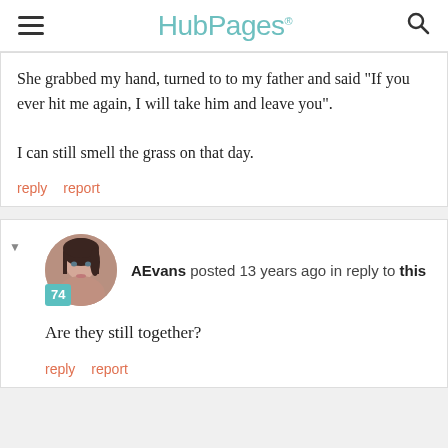HubPages
She grabbed my hand, turned to to my father and said "If you ever hit me again, I will take him and leave you".

I can still smell the grass on that day.
reply   report
AEvans posted 13 years ago in reply to this
Are they still together?
reply   report